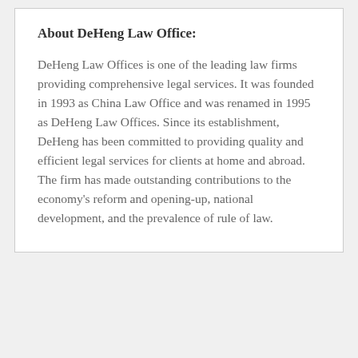About DeHeng Law Office:
DeHeng Law Offices is one of the leading law firms providing comprehensive legal services. It was founded in 1993 as China Law Office and was renamed in 1995 as DeHeng Law Offices. Since its establishment, DeHeng has been committed to providing quality and efficient legal services for clients at home and abroad. The firm has made outstanding contributions to the economy's reform and opening-up, national development, and the prevalence of rule of law.